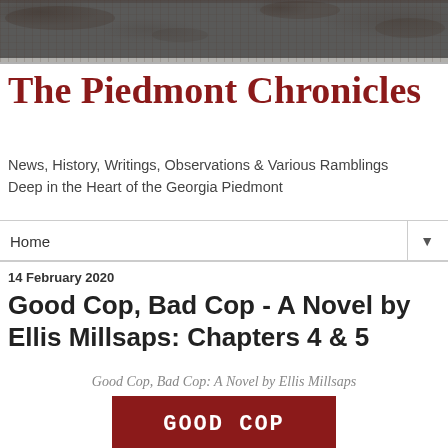[Figure (photo): Distressed texture header image with grayish scratched/stained appearance spanning full width at top of page]
The Piedmont Chronicles
News, History, Writings, Observations & Various Ramblings Deep in the Heart of the Georgia Piedmont
Home ▼
14 February 2020
Good Cop, Bad Cop - A Novel by Ellis Millsaps: Chapters 4 & 5
Good Cop, Bad Cop: A Novel by Ellis Millsaps
[Figure (photo): Book cover with dark red background showing 'GOOD COP' text in bold white capital letters]